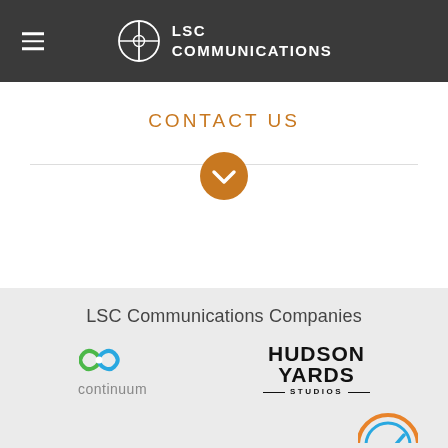LSC COMMUNICATIONS
CONTACT US
[Figure (logo): Orange circle with white chevron/down arrow icon]
LSC Communications Companies
[Figure (logo): Continuum logo: green/blue infinity symbol with 'continuum' text below]
[Figure (logo): Hudson Yards Studios logo in bold black text]
[Figure (logo): Partial circular logo visible at bottom right, orange and blue]